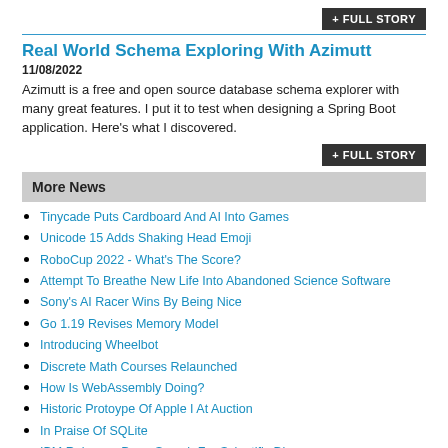+ FULL STORY
Real World Schema Exploring With Azimutt
11/08/2022
Azimutt is a free and open source database schema explorer with many great features. I put it to test when designing a Spring Boot application. Here's what I discovered.
+ FULL STORY
More News
Tinycade Puts Cardboard And AI Into Games
Unicode 15 Adds Shaking Head Emoji
RoboCup 2022 - What's The Score?
Attempt To Breathe New Life Into Abandoned Science Software
Sony's AI Racer Wins By Being Nice
Go 1.19 Revises Memory Model
Introducing Wheelbot
Discrete Math Courses Relaunched
How Is WebAssembly Doing?
Historic Protoype Of Apple I At Auction
In Praise Of SQLite
IBM Releases Deep Search For Scientific Discovery
OS-Climate - Open Source To Tackle Climate Change